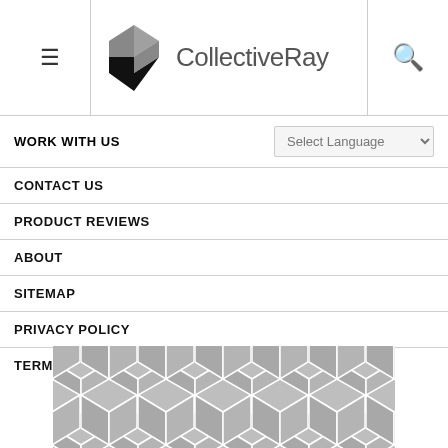CollectiveRay
WORK WITH US
CONTACT US
PRODUCT REVIEWS
ABOUT
SITEMAP
PRIVACY POLICY
TERMS AND CONDITIONS
[Figure (illustration): Geometric cube/hexagon tile pattern in gray and white]